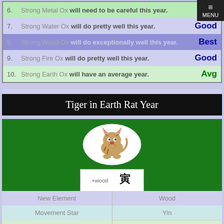6. Strong Metal Ox will need to be careful this year. Bad
7. Strong Water Ox will do pretty well this year. Good
8. Strong Wood Ox will do exceptionally well this year. Best
9. Strong Fire Ox will do pretty well this year. Good
10. Strong Earth Ox will have an average year. Avg
Tiger in Earth Rat Year
[Figure (illustration): Oval-shaped white background with a painted tiger illustration in traditional Chinese style, and a badge below showing '+wood TIGER' with Chinese character for Tiger (寅).]
Average
| New Element | Wood |
| Movement Star | Yin |
| Hidden Element 1 | jia |